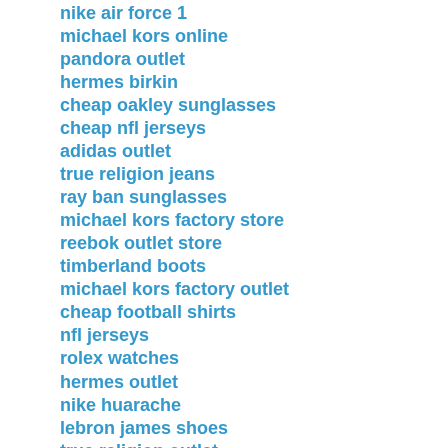nike air force 1
michael kors online
pandora outlet
hermes birkin
cheap oakley sunglasses
cheap nfl jerseys
adidas outlet
true religion jeans
ray ban sunglasses
michael kors factory store
reebok outlet store
timberland boots
michael kors factory outlet
cheap football shirts
nfl jerseys
rolex watches
hermes outlet
nike huarache
lebron james shoes
true religion outlet
ray ban sunglasses
michael kors handbags
michael kors outlet online